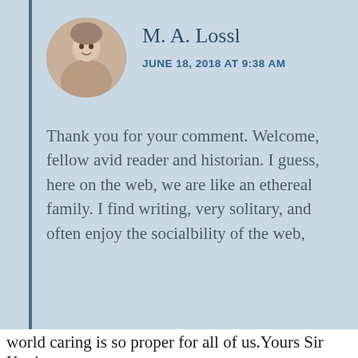M. A. Lossl
JUNE 18, 2018 AT 9:38 AM
Thank you for your comment. Welcome, fellow avid reader and historian. I guess, here on the web, we are like an ethereal family. I find writing, very solitary, and often enjoy the socialbility of the web,
★ Like
REPLY
Privacy & Cookies: This site uses cookies. By continuing to use this website, you agree to their use.
To find out more, including how to control cookies, see here: Cookie Policy
Close and accept
world caring is so proper for all of us.Yours Sir Kevin